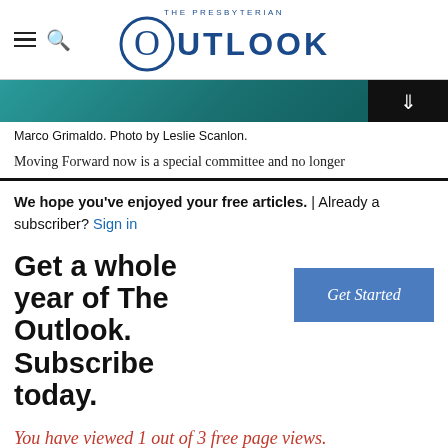The Presbyterian Outlook
[Figure (photo): Partial photo of Marco Grimaldo, teal/dark background visible at top of page]
Marco Grimaldo. Photo by Leslie Scanlon.
Moving Forward now is a special committee and no longer
We hope you've enjoyed your free articles. | Already a subscriber? Sign in
Get a whole year of The Outlook. Subscribe today.
You have viewed 1 out of 3 free page views.